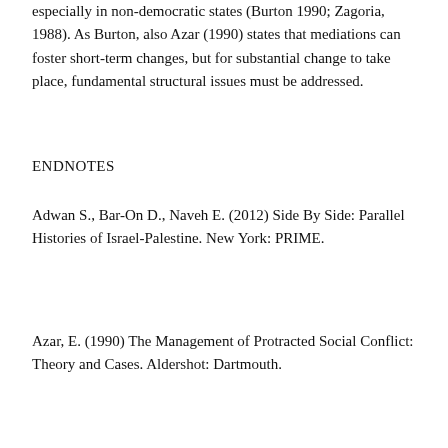especially in non-democratic states (Burton 1990; Zagoria, 1988). As Burton, also Azar (1990) states that mediations can foster short-term changes, but for substantial change to take place, fundamental structural issues must be addressed.
ENDNOTES
Adwan S., Bar-On D., Naveh E. (2012) Side By Side: Parallel Histories of Israel-Palestine. New York: PRIME.
Azar, E. (1990) The Management of Protracted Social Conflict: Theory and Cases. Aldershot: Dartmouth.